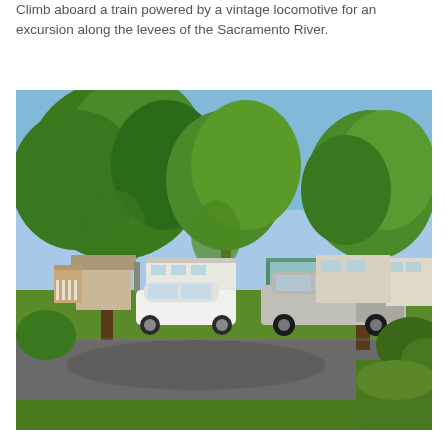Climb aboard a train powered by a vintage locomotive for an excursion along the levees of the Sacramento River.
[Figure (photo): Outdoor scene of an RV park or campground with large green trees, a white car, a silver pickup truck with a camper, and multiple RVs/trailers parked along a paved road with grass.]